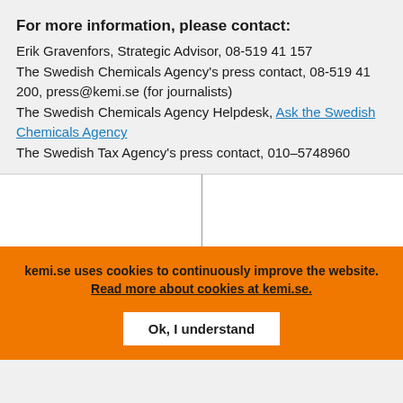For more information, please contact:
Erik Gravenfors, Strategic Advisor, 08-519 41 157
The Swedish Chemicals Agency's press contact, 08-519 41 200, press@kemi.se (for journalists)
The Swedish Chemicals Agency Helpdesk, Ask the Swedish Chemicals Agency
The Swedish Tax Agency's press contact, 010–5748960
kemi.se uses cookies to continuously improve the website. Read more about cookies at kemi.se.
Ok, I understand